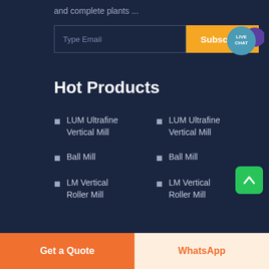and complete plants ...
Type Email
Subscribe
LIVE CHAT
Hot Products
LUM Ultrafine Vertical Mill
Ball Mill
LM Vertical Roller Mill
LUM Ultrafine Vertical Mill
Ball Mill
LM Vertical Roller Mill
Get a Quote
WhatsApp